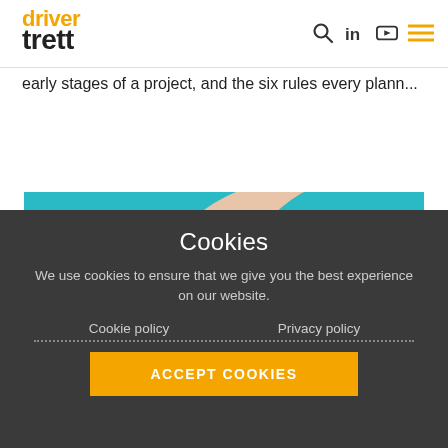driver trett
early stages of a project, and the six rules every plann...
[Figure (photo): A hand with fingers pinched together against a teal/cyan background]
Cookies
We use cookies to ensure that we give you the best experience on our website.
Cookie policy    Privacy policy
ACCEPT COOKIES